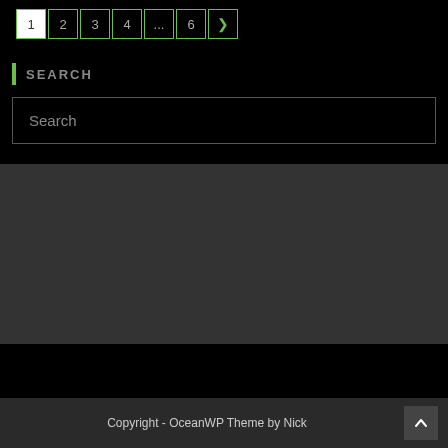1 2 3 4 ... 6 >
SEARCH
Search
Copyright - OceanWP Theme by Nick